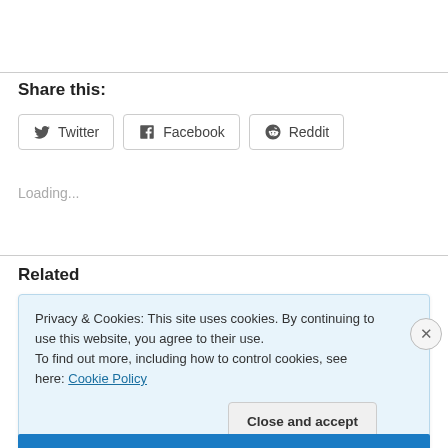Share this:
[Figure (other): Social share buttons: Twitter, Facebook, Reddit]
Loading...
Related
Privacy & Cookies: This site uses cookies. By continuing to use this website, you agree to their use.
To find out more, including how to control cookies, see here: Cookie Policy
Close and accept